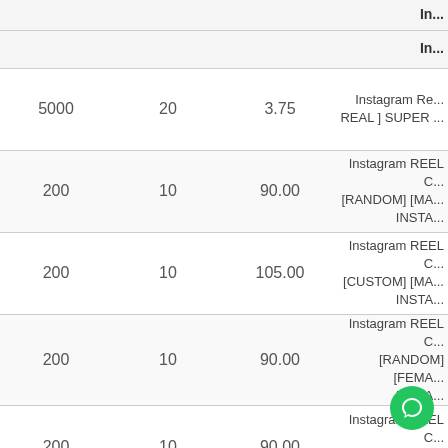|  |  |  | In... |
| --- | --- | --- | --- |
| 5000 | 20 | 3.75 | Instagram Re... REAL ] SUPER ... |
| 200 | 10 | 90.00 | Instagram REEL C... [RANDOM] [MA... INSTA... |
| 200 | 10 | 105.00 | Instagram REEL C... [CUSTOM] [MA... INSTA... |
| 200 | 10 | 90.00 | Instagram REEL C... [RANDOM] [FEMA... INSTA... |
| 200 | 10 | 90.00 | Instagram REEL C... [RANDOM] [IND... INSTA... |